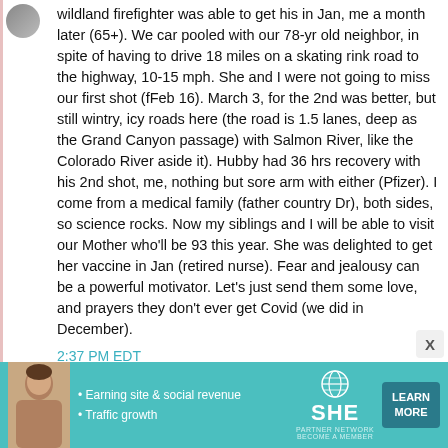wildland firefighter was able to get his in Jan, me a month later (65+). We car pooled with our 78-yr old neighbor, in spite of having to drive 18 miles on a skating rink road to the highway, 10-15 mph. She and I were not going to miss our first shot (fFeb 16). March 3, for the 2nd was better, but still wintry, icy roads here (the road is 1.5 lanes, deep as the Grand Canyon passage) with Salmon River, like the Colorado River aside it). Hubby had 36 hrs recovery with his 2nd shot, me, nothing but sore arm with either (Pfizer). I come from a medical family (father country Dr), both sides, so science rocks. Now my siblings and I will be able to visit our Mother who'll be 93 this year. She was delighted to get her vaccine in Jan (retired nurse). Fear and jealousy can be a powerful motivator. Let's just send them some love, and prayers they don't ever get Covid (we did in December).
2:37 PM EDT
[Figure (other): Advertisement banner for SHE Media Partner Network with a woman's photo, bullet points about earning site & social revenue and traffic growth, the SHE logo, and a Learn More button.]